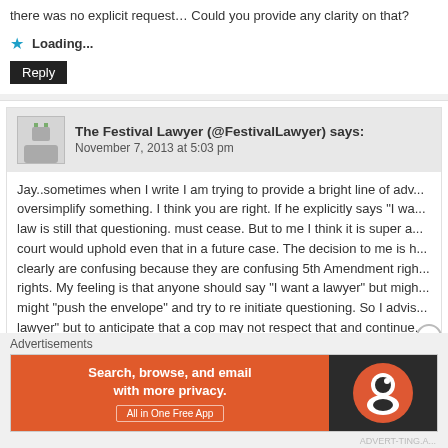there was no explicit request… Could you provide any clarity on that?
Loading...
Reply
The Festival Lawyer (@FestivalLawyer) says: November 7, 2013 at 5:03 pm
Jay..sometimes when I write I am trying to provide a bright line of adv... oversimplify something. I think you are right. If he explicitly says "I wa... law is still that questioning. must cease. But to me I think it is super a... court would uphold even that in a future case. The decision to me is h... clearly are confusing because they are confusing 5th Amendment rig... rights. My feeling is that anyone should say "I want a lawyer" but migh... might "push the envelope" and try to re initiate questioning. So I advis... lawyer" but to anticipate that a cop may not respect that and continue... agree my post is a little unclear on that point..thanks for clarifying!
Advertisements
[Figure (screenshot): DuckDuckGo advertisement banner: orange left side with text 'Search, browse, and email with more privacy. All in One Free App', dark right side with DuckDuckGo logo]